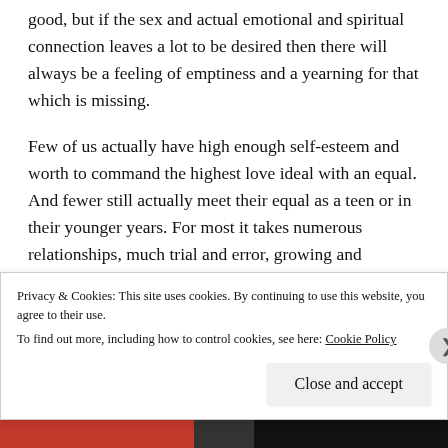good, but if the sex and actual emotional and spiritual connection leaves a lot to be desired then there will always be a feeling of emptiness and a yearning for that which is missing.
Few of us actually have high enough self-esteem and worth to command the highest love ideal with an equal. And fewer still actually meet their equal as a teen or in their younger years. For most it takes numerous relationships, much trial and error, growing and developing of self before one is ready for the big love. In fact it is in doing the Great work on developing oneself that one may eventually
Privacy & Cookies: This site uses cookies. By continuing to use this website, you agree to their use.
To find out more, including how to control cookies, see here: Cookie Policy
Close and accept